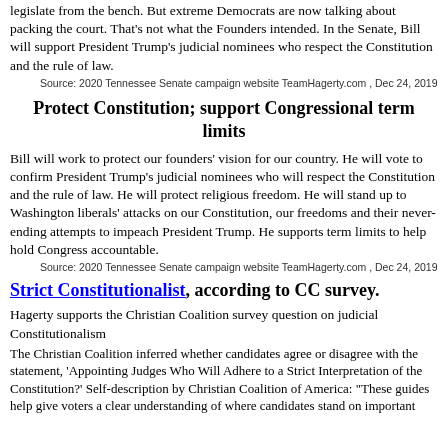legislate from the bench. But extreme Democrats are now talking about packing the court. That's not what the Founders intended. In the Senate, Bill will support President Trump's judicial nominees who respect the Constitution and the rule of law.
Source: 2020 Tennessee Senate campaign website TeamHagerty.com , Dec 24, 2019
Protect Constitution; support Congressional term limits
Bill will work to protect our founders' vision for our country. He will vote to confirm President Trump's judicial nominees who will respect the Constitution and the rule of law. He will protect religious freedom. He will stand up to Washington liberals' attacks on our Constitution, our freedoms and their never-ending attempts to impeach President Trump. He supports term limits to help hold Congress accountable.
Source: 2020 Tennessee Senate campaign website TeamHagerty.com , Dec 24, 2019
Strict Constitutionalist, according to CC survey.
Hagerty supports the Christian Coalition survey question on judicial Constitutionalism
The Christian Coalition inferred whether candidates agree or disagree with the statement, 'Appointing Judges Who Will Adhere to a Strict Interpretation of the Constitution?' Self-description by Christian Coalition of America: "These guides help give voters a clear understanding of where candidates stand on important